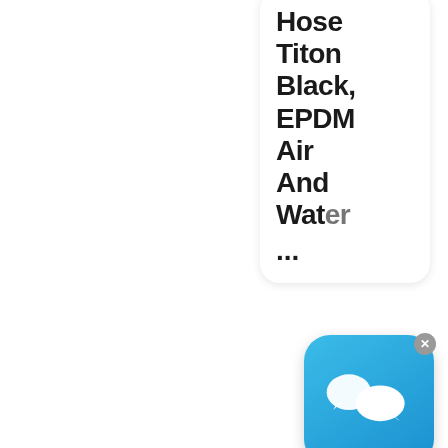Hose Titon Black, EPDM Air And Water ...
[Figure (screenshot): Chat app overlay icon on blue rounded square background with X close button]
[Figure (photo): Blue industrial hose product image thumbnail]
Browse By Egory - Novafl
[Figure (other): Red circular scroll-to-top button with double chevron up arrow]